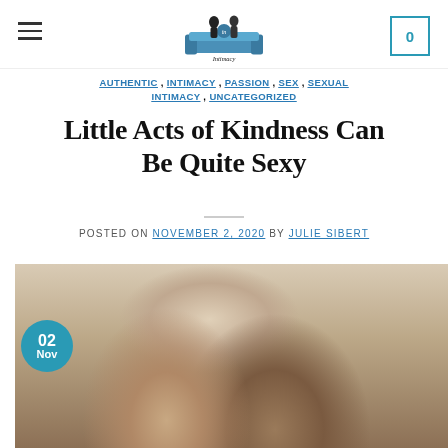Intimacy in Marriage — navigation header with logo and cart
AUTHENTIC, INTIMACY, PASSION, SEX, SEXUAL INTIMACY, UNCATEGORIZED
Little Acts of Kindness Can Be Quite Sexy
POSTED ON NOVEMBER 2, 2020 BY JULIE SIBERT
[Figure (photo): Couple (older man and woman) leaning foreheads together in a kitchen setting with shelves of baskets in the background. A circular date badge shows '02 Nov' in teal.]